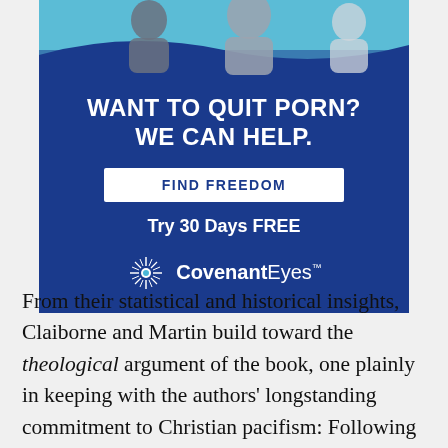[Figure (illustration): Covenant Eyes advertisement with photo of people at top, dark blue background, headline 'WANT TO QUIT PORN? WE CAN HELP.', button 'FIND FREEDOM', text 'Try 30 Days FREE', and CovenantEyes logo]
From their statistical and historical insights, Claiborne and Martin build toward the theological argument of the book, one plainly in keeping with the authors' longstanding commitment to Christian pacifism: Following Jesus means taking him at this word that his kingdom is a kingdom of peace. Guns, therefore, are false idols to be rejected. Christians cannot, as Claiborne and Martin argue, "carry a cross